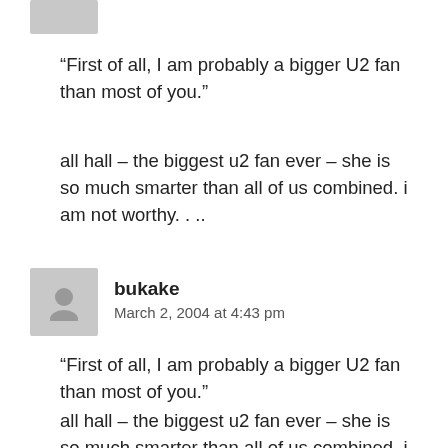“First of all, I am probably a bigger U2 fan than most of you.”
all hall – the biggest u2 fan ever – she is so much smarter than all of us combined. i am not worthy. . ..
bukake
March 2, 2004 at 4:43 pm
“First of all, I am probably a bigger U2 fan than most of you.”
all hall – the biggest u2 fan ever – she is so much smarter than all of us combined. i am not worthy. . ..